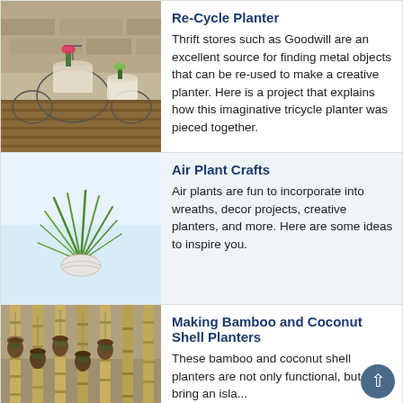[Figure (photo): Tricycle planter made from metal wire, with plants and flowers, placed outdoors against a stone wall on a wooden deck.]
Re-Cycle Planter
Thrift stores such as Goodwill are an excellent source for finding metal objects that can be re-used to make a creative planter. Here is a project that explains how this imaginative tricycle planter was pieced together.
[Figure (photo): Air plant (tillandsia) growing in a small white shell or pod planter on a white background.]
Air Plant Crafts
Air plants are fun to incorporate into wreaths, decor projects, creative planters, and more. Here are some ideas to inspire you.
[Figure (photo): Bamboo and coconut shell planters hanging from a bamboo rack outdoors.]
Making Bamboo and Coconut Shell Planters
These bamboo and coconut shell planters are not only functional, but will bring an island...